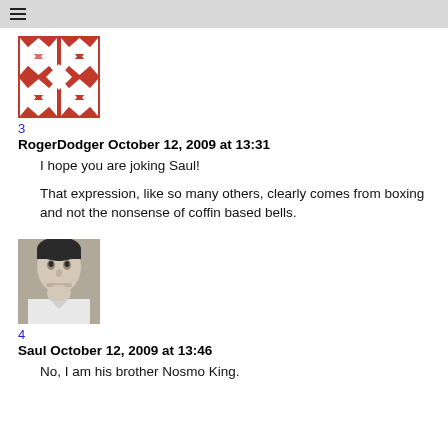≡
[Figure (illustration): Red and white geometric quilt-pattern avatar image]
3
RogerDodger October 12, 2009 at 13:31
I hope you are joking Saul!
That expression, like so many others, clearly comes from boxing and not the nonsense of coffin based bells.
[Figure (photo): Black and white photo of a man]
4
Saul October 12, 2009 at 13:46
No, I am his brother Nosmo King.